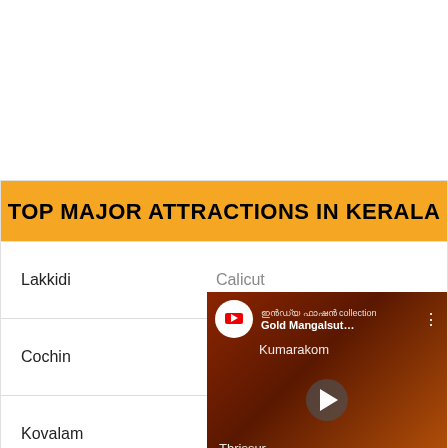TOP MAJOR ATTRACTIONS IN KERALA
Lakkidi | Calicut
Cochin | Kumarakom
Kovalam | Thrissur
Kollam | Munnar
Allepey | Varkala
[Figure (screenshot): YouTube video thumbnail showing Gold Mangalsutra jewelry on a red background, with YouTube player controls overlay]